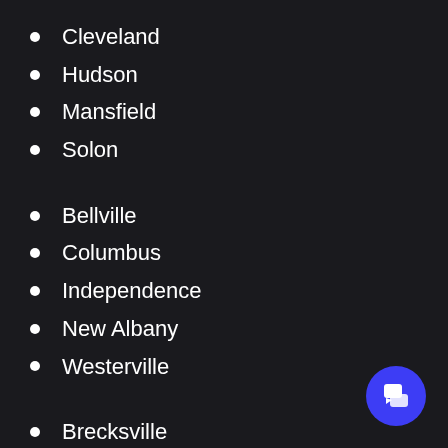Cleveland
Hudson
Mansfield
Solon
Bellville
Columbus
Independence
New Albany
Westerville
Brecksville
Delaware
Lewis Center
Powell
Wooster